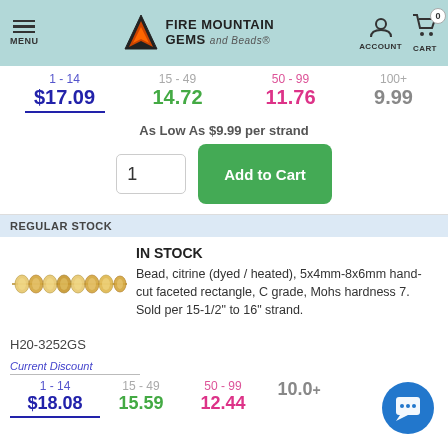[Figure (screenshot): Fire Mountain Gems and Beads website header with logo, menu, account and cart icons]
| 1 - 14 | 15 - 49 | 50 - 99 | 100+ |
| --- | --- | --- | --- |
| $17.09 | 14.72 | 11.76 | 9.99 |
As Low As $9.99 per strand
1  Add to Cart
REGULAR STOCK
IN STOCK
Bead, citrine (dyed / heated), 5x4mm-8x6mm hand-cut faceted rectangle, C grade, Mohs hardness 7. Sold per 15-1/2" to 16" strand.
H20-3252GS
Current Discount
| 1 - 14 | 15 - 49 | 50 - 99 | 100+ |
| --- | --- | --- | --- |
| $18.08 | 15.59 | 12.44 | 10.0+ |